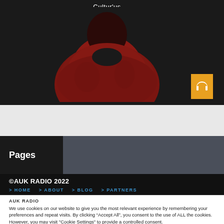[Figure (photo): Person wearing a dark red/burgundy knit sweater against a dark background, with 'Cultur'us' text overlay at top center and an orange headphone icon button at bottom right of the image]
Pages
©AUK RADIO 2022
> HOME  > ABOUT  > BLOG  > PARTNERS
AUK RADIO
We use cookies on our website to give you the most relevant experience by remembering your preferences and repeat visits. By clicking "Accept All", you consent to the use of ALL the cookies. However, you may visit "Cookie Settings" to provide a controlled consent.